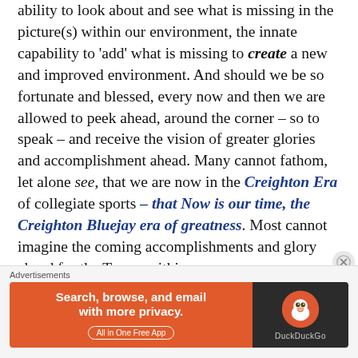ability to look about and see what is missing in the picture(s) within our environment, the innate capability to 'add' what is missing to create a new and improved environment. And should we be so fortunate and blessed, every now and then we are allowed to peek ahead, around the corner – so to speak – and receive the vision of greater glories and accomplishment ahead. Many cannot fathom, let alone see, that we are now in the Creighton Era of collegiate sports – that Now is our time, the Creighton Bluejay era of greatness. Most cannot imagine the coming accomplishments and glory ahead for the Teams within our program.
In todays' collegiate basketball climate it is an extremely difficult quest, definitely not an everyday
Advertisements
[Figure (other): DuckDuckGo advertisement banner: orange left panel with text 'Search, browse, and email with more privacy. All in One Free App' and dark right panel with DuckDuckGo duck logo and 'DuckDuckGo' text.]